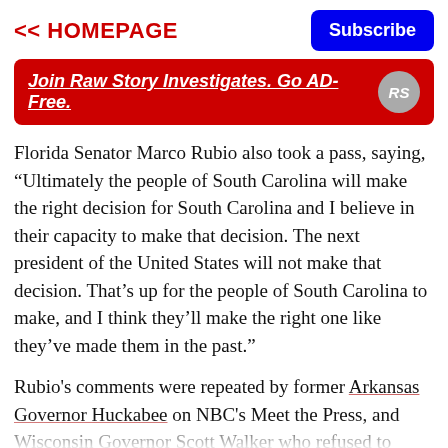<< HOMEPAGE
[Figure (other): Red banner ad for Raw Story Investigates with text 'Join Raw Story Investigates. Go AD-Free.' and RS logo]
Florida Senator Marco Rubio also took a pass, saying, “Ultimately the people of South Carolina will make the right decision for South Carolina and I believe in their capacity to make that decision. The next president of the United States will not make that decision. That’s up for the people of South Carolina to make, and I think they’ll make the right one like they’ve made them in the past.”
Rubio's comments were repeated by former Arkansas Governor Huckabee on NBC's Meet the Press, and Wisconsin Governor Scott Walker who refused to